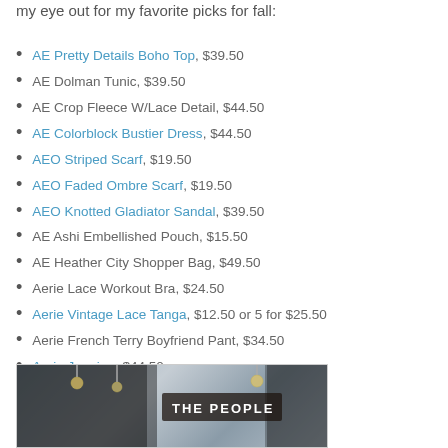my eye out for my favorite picks for fall:
AE Pretty Details Boho Top, $39.50
AE Dolman Tunic, $39.50
AE Crop Fleece W/Lace Detail, $44.50
AE Colorblock Bustier Dress, $44.50
AEO Striped Scarf, $19.50
AEO Faded Ombre Scarf, $19.50
AEO Knotted Gladiator Sandal, $39.50
AE Ashi Embellished Pouch, $15.50
AE Heather City Shopper Bag, $49.50
Aerie Lace Workout Bra, $24.50
Aerie Vintage Lace Tanga, $12.50 or 5 for $25.50
Aerie French Terry Boyfriend Pant, $34.50
Aerie Jegging, $44.50
[Figure (photo): Interior store photo with signage reading 'THE PEOPLE' visible in the background with pendant lights]